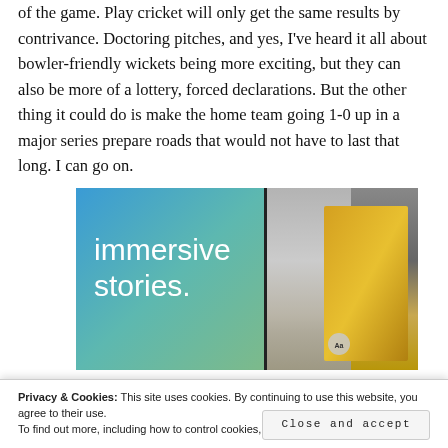of the game. Play cricket will only get the same results by contrivance. Doctoring pitches, and yes, I've heard it all about bowler-friendly wickets being more exciting, but they can also be more of a lottery, forced declarations. But the other thing it could do is make the home team going 1-0 up in a major series prepare roads that would not have to last that long. I can go on.
[Figure (photo): Advertisement banner showing text 'immersive stories.' on a blue-green gradient background on the left, and a photo of a person in a yellow jacket near a waterfall on the right.]
Privacy & Cookies: This site uses cookies. By continuing to use this website, you agree to their use.
To find out more, including how to control cookies, see here: Cookie Policy
Close and accept